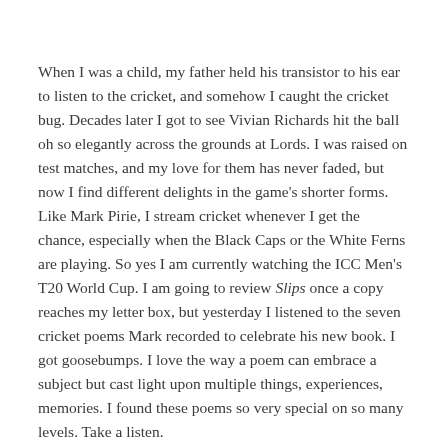When I was a child, my father held his transistor to his ear to listen to the cricket, and somehow I caught the cricket bug. Decades later I got to see Vivian Richards hit the ball oh so elegantly across the grounds at Lords. I was raised on test matches, and my love for them has never faded, but now I find different delights in the game's shorter forms. Like Mark Pirie, I stream cricket whenever I get the chance, especially when the Black Caps or the White Ferns are playing. So yes I am currently watching the ICC Men's T20 World Cup. I am going to review Slips once a copy reaches my letter box, but yesterday I listened to the seven cricket poems Mark recorded to celebrate his new book. I got goosebumps. I love the way a poem can embrace a subject but cast light upon multiple things, experiences, memories. I found these poems so very special on so many levels. Take a listen.